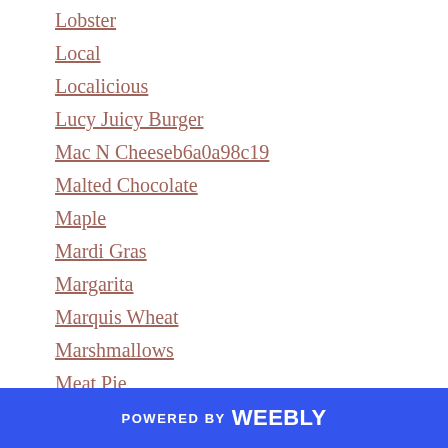Lobster
Local
Localicious
Lucy Juicy Burger
Mac N Cheeseb6a0a98c19
Malted Chocolate
Maple
Mardi Gras
Margarita
Marquis Wheat
Marshmallows
Meat Pie
Meringue
Mille Crepes0a0be4d704
Milling
Mince Meat
Miso
POWERED BY weebly